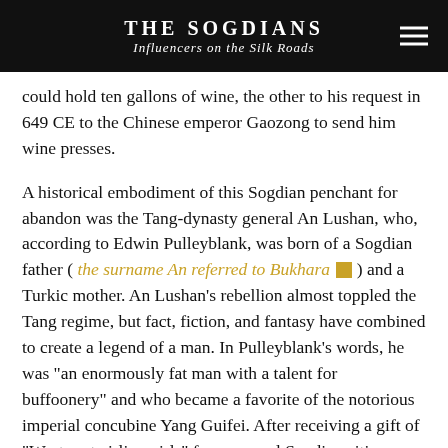THE SOGDIANS
Influencers on the Silk Roads
could hold ten gallons of wine, the other to his request in 649 CE to the Chinese emperor Gaozong to send him wine presses.
A historical embodiment of this Sogdian penchant for abandon was the Tang-dynasty general An Lushan, who, according to Edwin Pulleyblank, was born of a Sogdian father ( the surname An referred to Bukhara [icon] ) and a Turkic mother. An Lushan’s rebellion almost toppled the Tang regime, but fact, fiction, and fantasy have combined to create a legend of a man. In Pulleyblank’s words, he was “an enormously fat man with a talent for buffoonery” and who became a favorite of the notorious imperial concubine Yang Guifei. After receiving a gift of “Western twirling girls” from several Sogdian cities including Samarkand, Emperor Xuanzong so delighted in